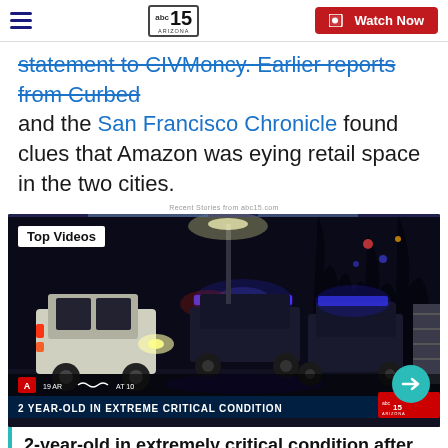ABC 15 Arizona — Watch Now
statement to CIVMoncy. Earlier reports from Curbed and the San Francisco Chronicle found clues that Amazon was eying retail space in the two cities.
Recent Stories from abc15.com
[Figure (screenshot): Night scene video thumbnail showing police vehicles with flashing red and blue lights parked on a street. Overlay text: 'Top Videos', '2 YEAR-OLD IN EXTREME CRITICAL CONDITION', news broadcast lower third. Arrow button on right.]
2-year-old in extremely critical condition after being pulled from pool